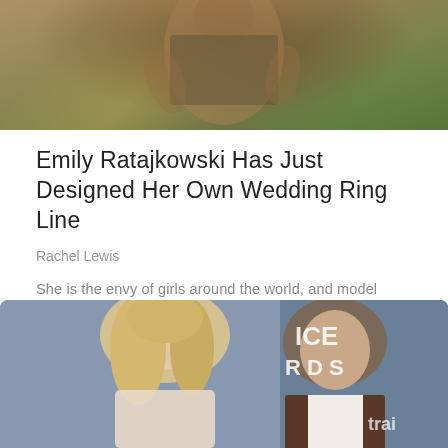[Figure (photo): Cropped photo of Emily Ratajkowski in a sparkly strapless outfit, outdoors with greenery background]
Emily Ratajkowski Has Just Designed Her Own Wedding Ring Line
Rachel Lewis
She is the envy of girls around the world, and model Emily Ratajkowski now has another credential ...
Read More
[Figure (photo): Photo of a blonde woman and a man in a brown suit at what appears to be the Critics Choice Awards red carpet]